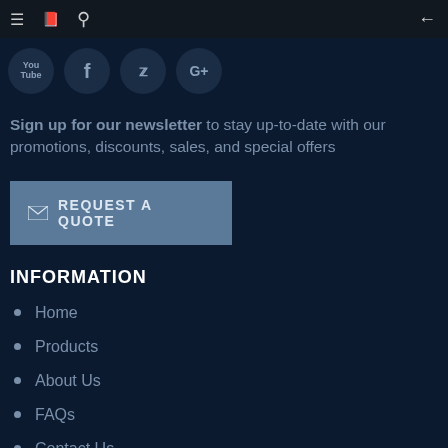Navigation bar with menu, book, search icons and back arrow
[Figure (illustration): Social media icon circles: YouTube, Facebook, Twitter, Google+]
Sign up for our newsletter to stay up-to-date with our promotions, discounts, sales, and special offers
[Figure (other): Request a Quote button with envelope icon]
INFORMATION
Home
Products
About Us
FAQs
Contact Us